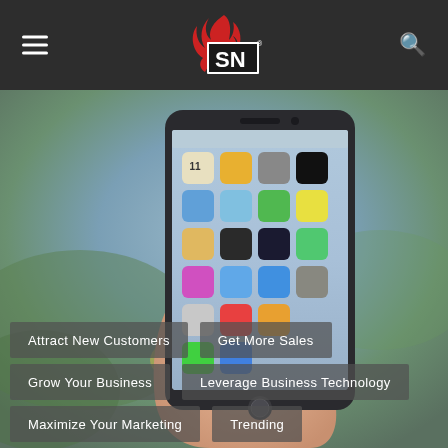[Figure (logo): SN logo with flame — white letters S and N on dark background with red flame icon, on dark gray header bar with hamburger menu icon on left and search icon on right]
[Figure (photo): A hand holding an iPhone displaying the home screen with various app icons, against a blurred outdoor background with greenery]
Attract New Customers
Get More Sales
Grow Your Business
Leverage Business Technology
Maximize Your Marketing
Trending